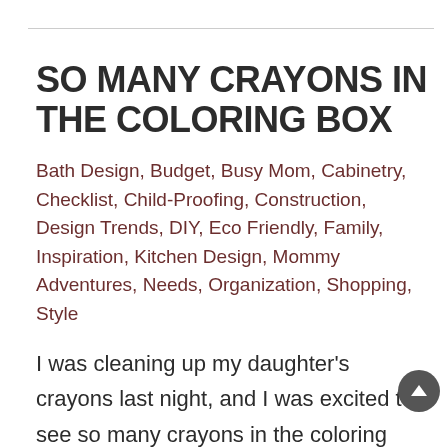SO MANY CRAYONS IN THE COLORING BOX
Bath Design, Budget, Busy Mom, Cabinetry, Checklist, Child-Proofing, Construction, Design Trends, DIY, Eco Friendly, Family, Inspiration, Kitchen Design, Mommy Adventures, Needs, Organization, Shopping, Style
I was cleaning up my daughter’s crayons last night, and I was excited to see so many crayons in the coloring box.There are